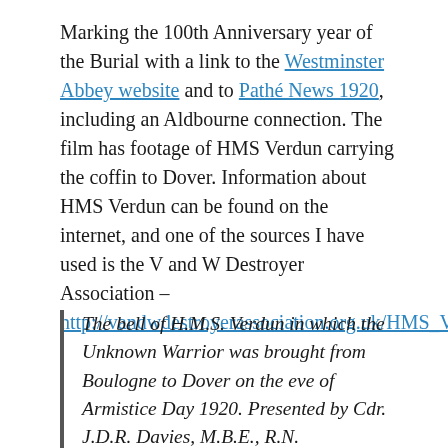Marking the 100th Anniversary year of the Burial with a link to the Westminster Abbey website and to Pathé News 1920, including an Aldbourne connection. The film has footage of HMS Verdun carrying the coffin to Dover. Information about HMS Verdun can be found on the internet, and one of the sources I have used is the V and W Destroyer Association – http://vandwdestroyerassociation.org.uk/HMS_Verdun/index.html
The bell of H.M.S. Verdun in which the Unknown Warrior was brought from Boulogne to Dover on the eve of Armistice Day 1920. Presented by Cdr. J.D.R. Davies, M.B.E., R.N.